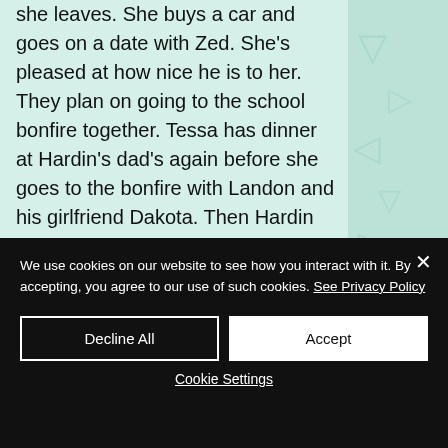she leaves. She buys a car and goes on a date with Zed. She's pleased at how nice he is to her. They plan on going to the school bonfire together. Tessa has dinner at Hardin's dad's again before she goes to the bonfire with Landon and his girlfriend Dakota. Then Hardin shows up and is, of course, a dick. Tessa follows Landon and Dakota to the bonfire and meets up with Zed. They go to his house after Hardin shows up with yet another girl. Zed kisses Tessa at his apartment
We use cookies on our website to see how you interact with it. By accepting, you agree to our use of such cookies. See Privacy Policy
Decline All
Accept
Cookie Settings